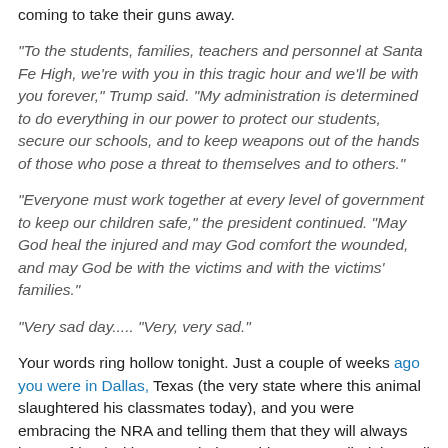coming to take their guns away.
“To the students, families, teachers and personnel at Santa Fe High, we’re with you in this tragic hour and we’ll be with you forever,” Trump said. “My administration is determined to do everything in our power to protect our students, secure our schools, and to keep weapons out of the hands of those who pose a threat to themselves and to others.”
“Everyone must work together at every level of government to keep our children safe,” the president continued. “May God heal the injured and may God comfort the wounded, and may God be with the victims and with the victims’ families.”
“Very sad day..... “Very, very sad.”
Your words ring hollow tonight. Just a couple of weeks ago you were in Dallas, Texas (the very state where this animal slaughtered his classmates today), and you were embracing the NRA and telling them that they will always have a friend with you as their president. You called them all patriots. As if